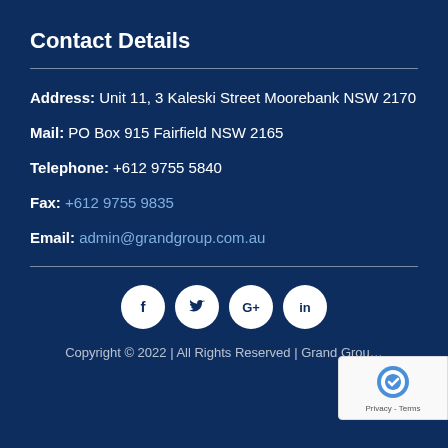Contact Details
Address: Unit 11, 3 Kaleski Street Moorebank NSW 2170
Mail: PO Box 915 Fairfield NSW 2165
Telephone: +612 9755 5840
Fax: +612 9755 9835
Email: admin@grandgroup.com.au
[Figure (infographic): Social media icons: Facebook, Twitter, Google+, LinkedIn]
Copyright © 2022 | All Rights Reserved | Grand Group